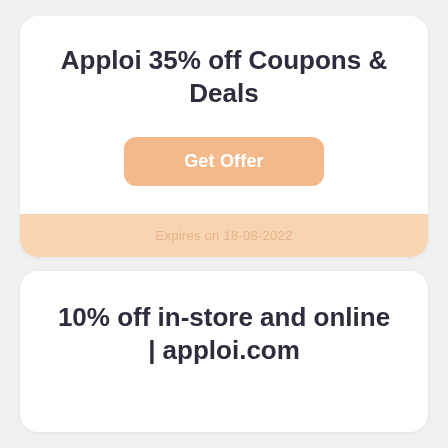Apploi 35% off Coupons & Deals
Get Offer
Expires on 18-08-2022
10% off in-store and online | apploi.com